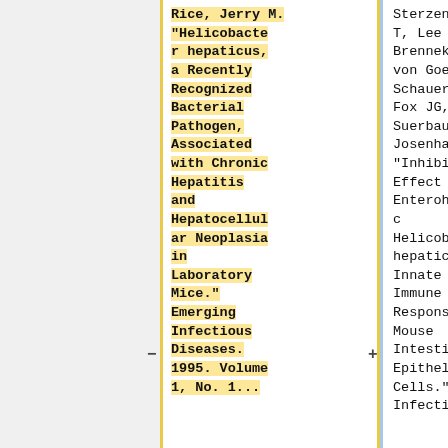Rice, Jerry M. "Helicobacter hepaticus, a Recently Recognized Bacterial Pathogen, Associated with Chronic Hepatitis and Hepatocellular Neoplasia in Laboratory Mice." Emerging Infectious Diseases. 1995. Volume 1, No. 1...
Sterzenbach T, Lee SK, Brenneke B, von Goetz F, Schauer DB, Fox JG, Suerbaum S, Josenhans C. "Inhibitory Effect of Enterohepatic Helicobacter hepaticus on Innate Immune Responses of Mouse Intestinal Epithelial Cells." Infection...